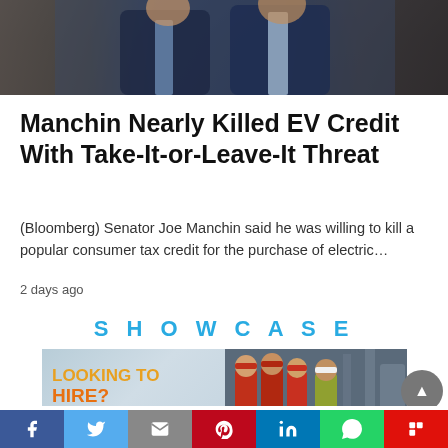[Figure (photo): Two men in suits at a podium or speaking event, cropped at chest/shoulders]
Manchin Nearly Killed EV Credit With Take-It-or-Leave-It Threat
(Bloomberg) Senator Joe Manchin said he was willing to kill a popular consumer tax credit for the purchase of electric…
2 days ago
SHOWCASE
[Figure (photo): Advertisement banner reading 'LOOKING TO HIRE? Check-out our Featured...' with workers in red uniforms at an industrial facility]
Página traducible | ภาษาไทย | Página traduzível | اللغة العربية
f  Twitter  Email  Pinterest  LinkedIn  WhatsApp  Flipboard social sharing buttons